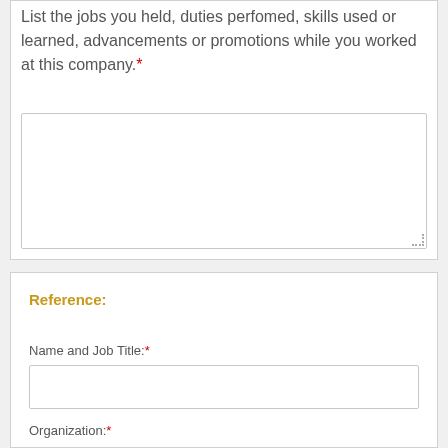List the jobs you held, duties perfomed, skills used or learned, advancements or promotions while you worked at this company.*
Reference:
Name and Job Title:*
Organization:*